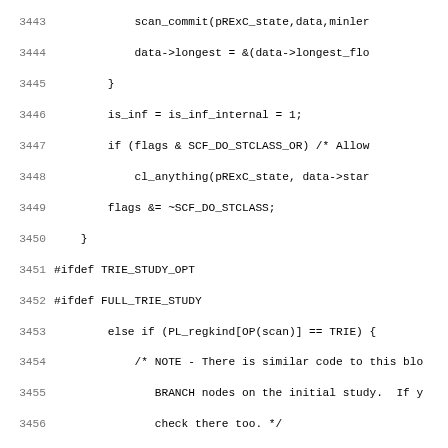[Figure (other): Source code listing (C/Perl code) with line numbers 3443-3474, showing regex engine scan commit and trie study optimization logic.]